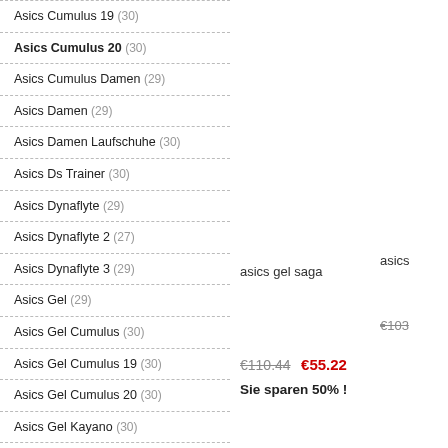Asics Cumulus 19 (30)
Asics Cumulus 20 (30)
Asics Cumulus Damen (29)
Asics Damen (29)
Asics Damen Laufschuhe (30)
Asics Ds Trainer (30)
Asics Dynaflyte (29)
Asics Dynaflyte 2 (27)
Asics Dynaflyte 3 (29)
Asics Gel (29)
Asics Gel Cumulus (30)
Asics Gel Cumulus 19 (30)
Asics Gel Cumulus 20 (30)
Asics Gel Kayano (30)
Asics Gel Kayano 24 (30)
Asics Gel Kayano 25 (29)
asics gel saga
asics
€103
€110.44  €55.22
Sie sparen 50% !